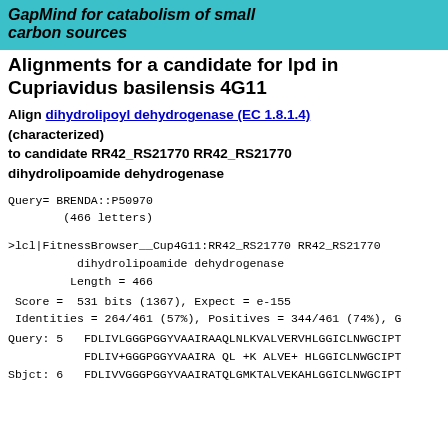GapMind for catabolism of small carbon sources
Alignments for a candidate for lpd in Cupriavidus basilensis 4G11
Align dihydrolipoyl dehydrogenase (EC 1.8.1.4) (characterized) to candidate RR42_RS21770 RR42_RS21770 dihydrolipoamide dehydrogenase
Query= BRENDA::P50970
        (466 letters)
>lcl|FitnessBrowser__Cup4G11:RR42_RS21770 RR42_RS21770
          dihydrolipoamide dehydrogenase
         Length = 466
Score =  531 bits (1367), Expect = e-155
 Identities = 264/461 (57%), Positives = 344/461 (74%), G
Query: 5   FDLIVLGGGPGGYVAAIRAAQLNLKVALVERVHLGGICLNWGCIPT
          FDLIV+GGGPGGYVAAIRA QL +K ALVE+ HLGGICLNWGCIPT
Sbjct: 6   FDLIVVGGGPGGYVAAIRATQLGMKTALVEKAHLGGICLNWGCIPT